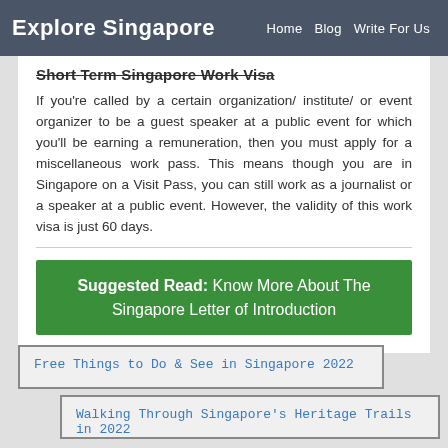Explore Singapore   Home   Blog   Write For Us
Short Term Singapore Work Visa
If you're called by a certain organization/ institute/ or event organizer to be a guest speaker at a public event for which you'll be earning a remuneration, then you must apply for a miscellaneous work pass. This means though you are in Singapore on a Visit Pass, you can still work as a journalist or a speaker at a public event. However, the validity of this work visa is just 60 days.
Suggested Read: Know More About The Singapore Letter of Introduction
Free Things to Do & See in Singapore 2022
Walking Through Singapore's Heritage Trails in 2022